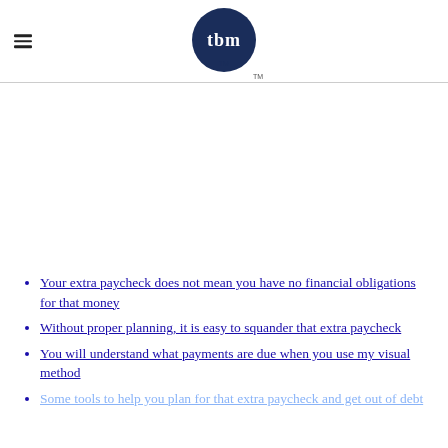tbm (logo)
Your extra paycheck does not mean you have no financial obligations for that money
Without proper planning, it is easy to squander that extra paycheck
You will understand what payments are due when you use my visual method
Some tools to help you plan for that extra paycheck and get out of debt